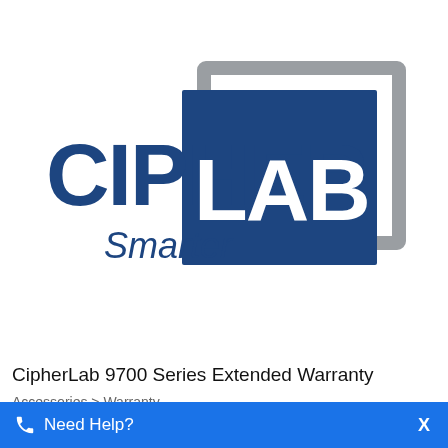[Figure (logo): CipherLab logo with 'CIPHER' text in dark blue and 'LAB' in white on a dark blue square background, with a gray square outline offset behind it, and 'Smarter' text below in dark blue italic]
CipherLab 9700 Series Extended Warranty
Accessories > Warranty
[Figure (other): Blue chat/help bar at bottom with phone icon, 'Need Help?' text, and 'X' close button]